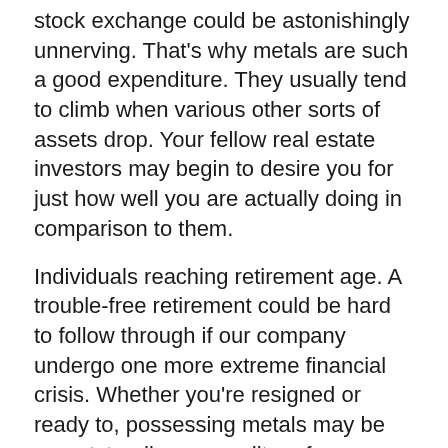stock exchange could be astonishingly unnerving. That's why metals are such a good expenditure. They usually tend to climb when various other sorts of assets drop. Your fellow real estate investors may begin to desire you for just how well you are actually doing in comparison to them.
Individuals reaching retirement age. A trouble-free retirement could be hard to follow through if our company undergo one more extreme financial crisis. Whether you're resigned or ready to, possessing metals may be an outstanding expenditure for carrying equilibrium to your properties.
What Creates Them One-of-a-kind?